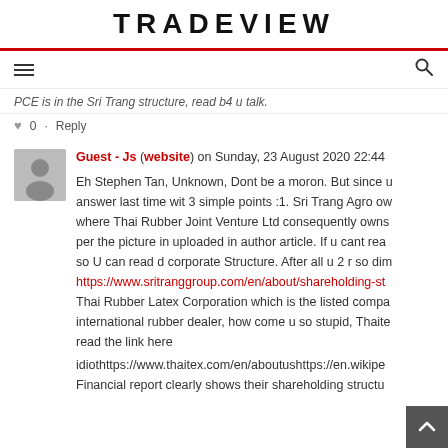TRADEVIEW
PCE is in the Sri Trang structure, read b4 u talk.
0 · Reply
Guest - Js (website) on Sunday, 23 August 2020 22:44
Eh Stephen Tan, Unknown, Dont be a moron. But since u answer last time wit 3 simple points :1. Sri Trang Agro ow where Thai Rubber Joint Venture Ltd consequently owns per the picture in uploaded in author article. If u cant rea so U can read d corporate Structure. After all u 2 r so dim
https://www.sritranggroup.com/en/about/shareholding-st
Thai Rubber Latex Corporation which is the listed compa international rubber dealer, how come u so stupid, Thaite read the link here
idiothttps://www.thaitex.com/en/aboutushttps://en.wikipe
Financial report clearly shows their shareholding structu